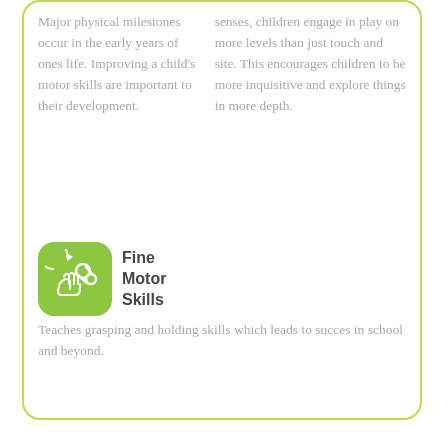Major physical milestones occur in the early years of ones life. Improving a child's motor skills are important to their development.
senses, children engage in play on more levels than just touch and site. This encourages children to be more inquisitive and explore things in more depth.
[Figure (illustration): Green rounded square icon with white line-art of scissors, a hand, and circular arrows indicating fine motor skills]
Fine Motor Skills
Teaches grasping and holding skills which leads to succes in school and beyond.